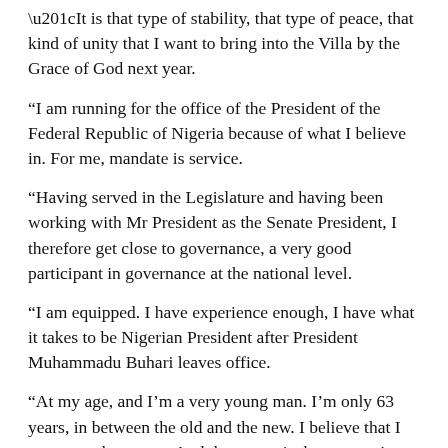“It is that type of stability, that type of peace, that kind of unity that I want to bring into the Villa by the Grace of God next year.
“I am running for the office of the President of the Federal Republic of Nigeria because of what I believe in. For me, mandate is service.
“Having served in the Legislature and having been working with Mr President as the Senate President, I therefore get close to governance, a very good participant in governance at the national level.
“I am equipped. I have experience enough, I have what it takes to be Nigerian President after President Muhammadu Buhari leaves office.
“At my age, and I’m a very young man. I’m only 63 years, in between the old and the new. I believe that I can carry the young. And the young is the centre piece of my policy.